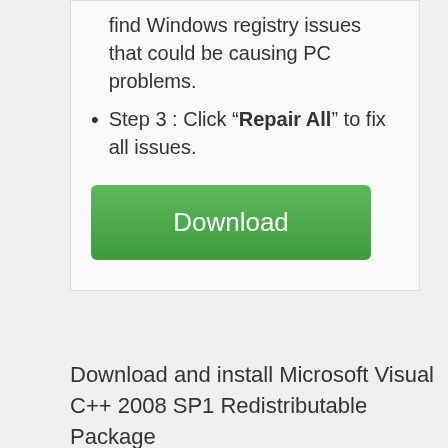find Windows registry issues that could be causing PC problems.
Step 3 : Click “Repair All” to fix all issues.
[Figure (other): Green Download button]
Download and install Microsoft Visual C++ 2008 SP1 Redistributable Package